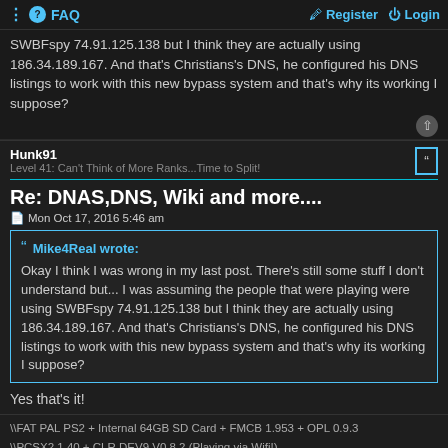FAQ | Register | Login
SWBFspy 74.91.125.138 but I think they are actually using 186.34.189.167. And that's Christians's DNS, he configured his DNS listings to work with this new bypass system and that's why its working I suppose?
Hunk91
Level 41: Can't Think of More Ranks...Time to Split!
Re: DNAS,DNS, Wiki and more....
Mon Oct 17, 2016 5:46 am
Mike4Real wrote:
Okay I think I was wrong in my last post. There's still some stuff I don't understand but... I was assuming the people that were playing were using SWBFspy 74.91.125.138 but I think they are actually using 186.34.189.167. And that's Christians's DNS, he configured his DNS listings to work with this new bypass system and that's why its working I suppose?
Yes that's it!
\\FAT PAL PS2 + Internal 64GB SD Card + FMCB 1.953 + OPL 0.9.3
\\PCSX2 1.40 + CLR DEV9 V0.8.2 (Playing via Wifi!)